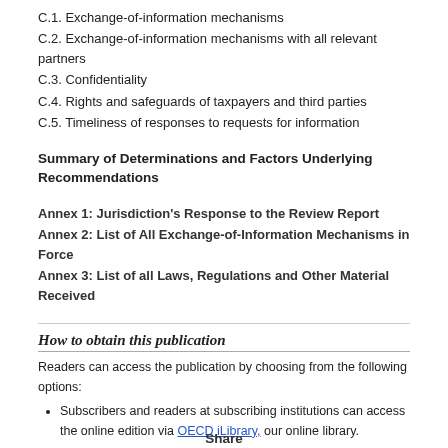C.1. Exchange-of-information mechanisms
C.2. Exchange-of-information mechanisms with all relevant partners
C.3. Confidentiality
C.4. Rights and safeguards of taxpayers and third parties
C.5. Timeliness of responses to requests for information
Summary of Determinations and Factors Underlying Recommendations
Annex 1: Jurisdiction's Response to the Review Report
Annex 2: List of All Exchange-of-Information Mechanisms in Force
Annex 3: List of all Laws, Regulations and Other Material Received
How to obtain this publication
Readers can access the publication by choosing from the following options:
Subscribers and readers at subscribing institutions can access the online edition via OECD iLibrary, our online library.
Non-subscribers can purchase the PDF e-book and/or paper
Share